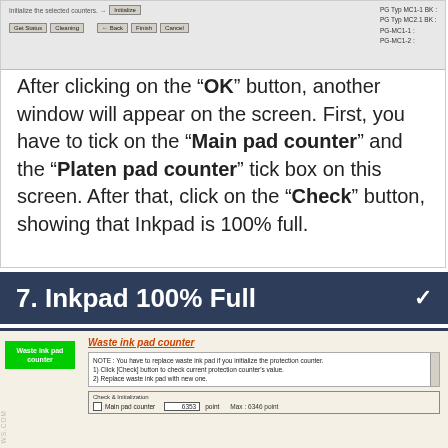[Figure (screenshot): Screenshot of a printer utility dialog showing Initialize button, Get Status, Cleaning, Back, Finish, Cancel buttons, and a panel listing PG Typ MC1-1 BK, PG Typ MC2.1 BK, PG-MC1-1, PG-MC1-2 on the right]
After clicking on the “OK” button, another window will appear on the screen. First, you have to tick on the “Main pad counter” and the “Platen pad counter” tick box on this screen. After that, click on the “Check” button, showing that Inkpad is 100% full.
7. Inkpad 100% Full
[Figure (screenshot): Screenshot of Waste ink pad counter dialog. Shows a green button labeled 'Waste ink pad counter', a Waste ink pad counter title, a note box with instructions, a Check & Initialization section with Main pad counter showing 6353 point, Max: 6346 point]